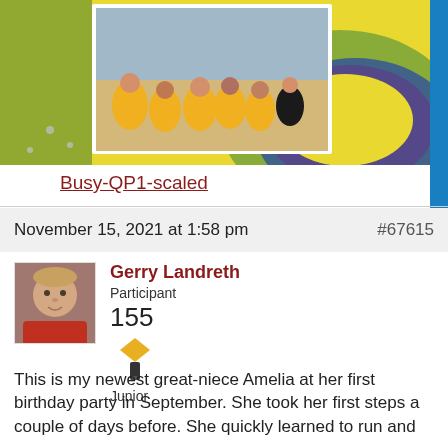[Figure (photo): Scrapbook page showing children in yellow coats sitting on sand, with colorful crocheted doily decoration on yellow background]
Busy-QP1-scaled
November 15, 2021 at 1:58 pm   #67615
[Figure (photo): Avatar photo of Gerry Landreth, a man wearing a red shirt]
Gerry Landreth
Participant
155
Junior
This is my newest great-niece Amelia at her first birthday party in September. She took her first steps a couple of days before. She quickly learned to run and